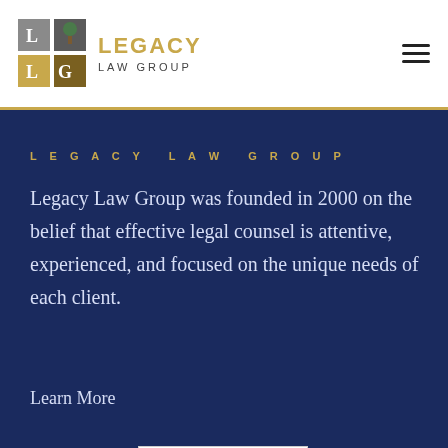[Figure (logo): Legacy Law Group logo with LLG monogram boxes and tree icon, gold text reading Legacy Law Group]
LEGACY LAW GROUP
Legacy Law Group was founded in 2000 on the belief that effective legal counsel is attentive, experienced, and focused on the unique needs of each client.
Learn More
[Figure (infographic): Avvo Clients' Choice Award 2019 badge with Steven Wee name banner and five orange stars]